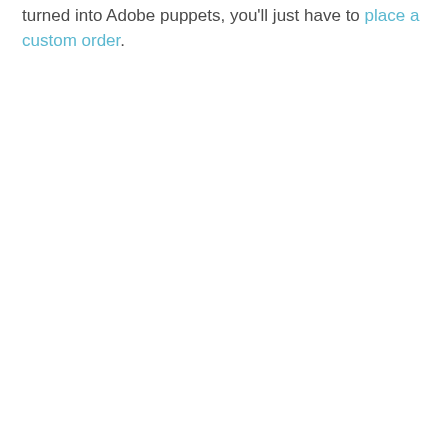turned into Adobe puppets, you'll just have to place a custom order.